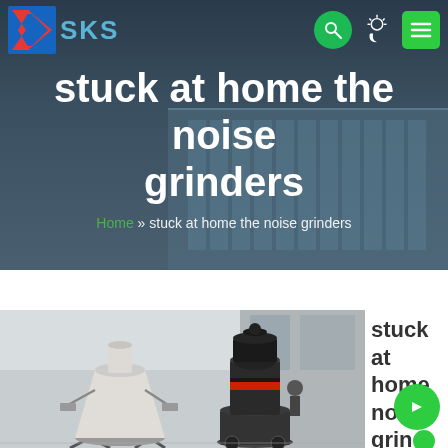[Figure (screenshot): SKS website header with logo, search, theme toggle, and menu icons on a dark blue-grey background]
stuck at home the noise grinders
Home » stuck at home the noise grinders
[Figure (photo): Two industrial grinding machines in a workshop interior]
stuck at home noise grinders cho lyrics